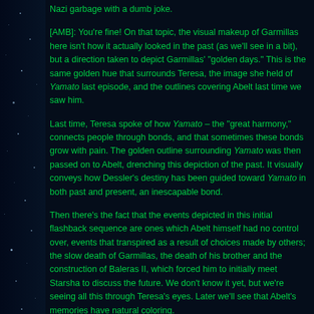Sorry about that. You needed to break the tension of that gross open Nazi garbage with a dumb joke.
[AMB]: You're fine! On that topic, the visual makeup of Garmillas here isn't how it actually looked in the past (as we'll see in a bit), but a direction taken to depict Garmillas' "golden days." This is the same golden hue that surrounds Teresa, the image she held of Yamato last episode, and the outlines covering Abelt last time we saw him.
Last time, Teresa spoke of how Yamato – the "great harmony," connects people through bonds, and that sometimes these bonds grow with pain. The golden outline surrounding Yamato was then passed on to Abelt, drenching this depiction of the past. It visually conveys how Dessler's destiny has been guided toward Yamato in both past and present, an inescapable bond.
Then there's the fact that the events depicted in this initial flashback sequence are ones which Abelt himself had no control over, events that transpired as a result of choices made by others; the slow death of Garmillas, the death of his brother and the construction of Baleras II, which forced him to initially meet Starsha to discuss the future. We don't know it yet, but we're seeing all this through Teresa's eyes. Later we'll see that Abelt's memories have natural coloring.
Inside the mansion, we hear dark and mournful music as we pan over a room that is almost certainly what inspired the future Throne Room of Abelt Dessler. There is no mural depicting he and Starsha yet, of course, but the familiar smile plays ahead of his future. Eerie, isn't it.